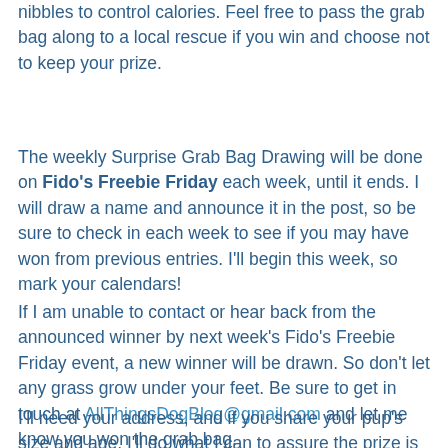nibbles to control calories. Feel free to pass the grab bag along to a local rescue if you win and choose not to keep your prize.
The weekly Surprise Grab Bag Drawing will be done on Fido's Freebie Friday each week, until it ends. I will draw a name and announce it in the post, so be sure to check in each week to see if you may have won from previous entries. I'll begin this week, so mark your calendars!
If I am unable to contact or hear back from the announced winner by next week's Fido's Freebie Friday event, a new winner will be drawn. So don't let any grass grow under your feet. Be sure to get in touch at AllThingsDogBlog@gmail.com and let me know you won the grab bag.
I'll need your address, and if you share your pup's size and age, I'll do what I can to assure the prize is suitable for your